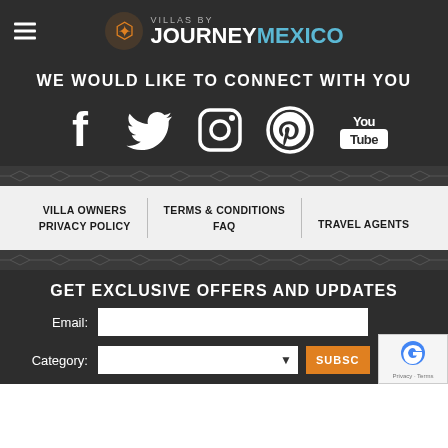VILLAS BY JOURNEY MEXICO
WE WOULD LIKE TO CONNECT WITH YOU
[Figure (illustration): Social media icons: Facebook, Twitter, Instagram, Pinterest, YouTube]
[Figure (illustration): Decorative diamond pattern border]
VILLA OWNERS   PRIVACY POLICY   TERMS & CONDITIONS   FAQ   TRAVEL AGENTS
[Figure (illustration): Decorative diamond pattern border]
GET EXCLUSIVE OFFERS AND UPDATES
Email: [input field]
Category: [dropdown] SUBSCRIBE